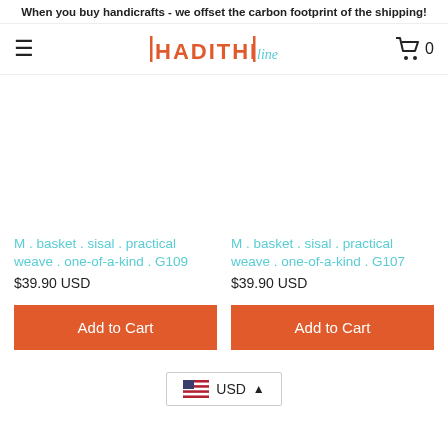When you buy handicrafts - we offset the carbon footprint of the shipping!
[Figure (logo): HADITHIline logo with orange HADITHI text and teal cursive 'line' text]
M . basket . sisal . practical weave . one-of-a-kind . G109
$39.90 USD
M . basket . sisal . practical weave . one-of-a-kind . G107
$39.90 USD
Add to Cart
Add to Cart
USD